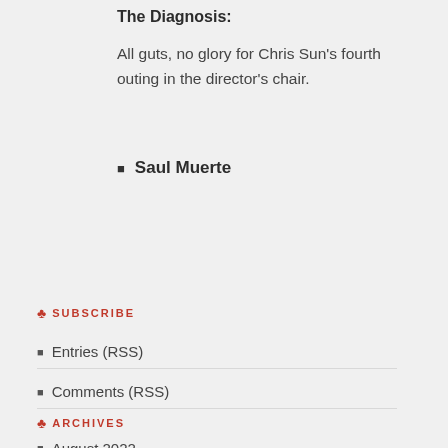The Diagnosis:
All guts, no glory for Chris Sun's fourth outing in the director's chair.
Saul Muerte
♣ SUBSCRIBE
Entries (RSS)
Comments (RSS)
♣ ARCHIVES
August 2022